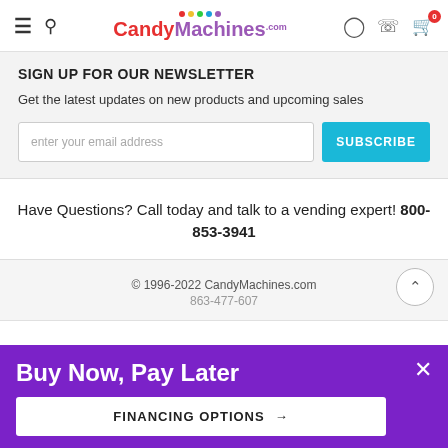CandyMachines.com — navigation header with hamburger menu, search, logo, user icon, phone icon, cart (0)
SIGN UP FOR OUR NEWSLETTER
Get the latest updates on new products and upcoming sales
enter your email address [input] SUBSCRIBE [button]
Have Questions? Call today and talk to a vending expert! 800-853-3941
© 1996-2022 CandyMachines.com
863-477-607
Buy Now, Pay Later
FINANCING OPTIONS →